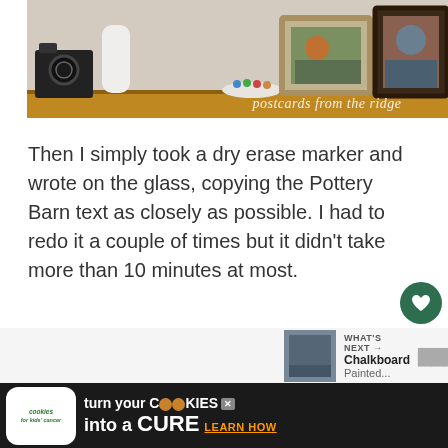[Figure (photo): A wooden shelf displaying a vintage black camera, a white ceramic vase or sock, a small dish with colorful beads, a silver picture frame, and a dark ornate picture frame. Watermark reads 'postcards from the ridge' in italic script.]
Then I simply took a dry erase marker and wrote on the glass, copying the Pottery Barn text as closely as possible. I had to redo it a couple of times but it didn't take more than 10 minutes at most.
[Figure (photo): Small thumbnail preview image for 'What's Next' — Chalkboard Painted section]
[Figure (screenshot): Advertisement bar: Cookies for Kids' Cancer — turn your COOKIES into a CURE LEARN HOW]